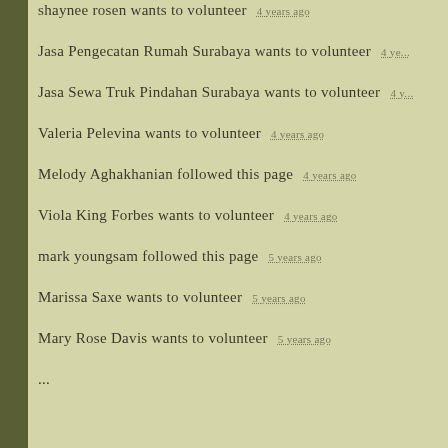shaynee rosen wants to volunteer  4 years ago
Jasa Pengecatan Rumah Surabaya wants to volunteer  4 ye...
Jasa Sewa Truk Pindahan Surabaya wants to volunteer  4 y...
Valeria Pelevina wants to volunteer  4 years ago
Melody Aghakhanian followed this page  4 years ago
Viola King Forbes wants to volunteer  4 years ago
mark youngsam followed this page  5 years ago
Marissa Saxe wants to volunteer  5 years ago
Mary Rose Davis wants to volunteer  5 years ago
... wants to volunteer ...